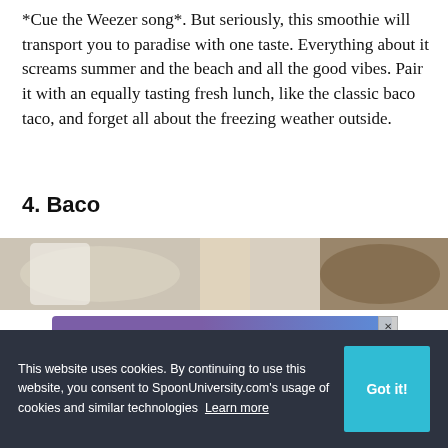*Cue the Weezer song*. But seriously, this smoothie will transport you to paradise with one taste. Everything about it screams summer and the beach and all the good vibes. Pair it with an equally tasting fresh lunch, like the classic baco taco, and forget all about the freezing weather outside.
4. Baco
[Figure (photo): Top portion of a food photo, partially visible at the top]
[Figure (screenshot): Advertisement banner for Generation Hired - Join Generation Hired, your virtual career center]
This website uses cookies. By continuing to use this website, you consent to SpoonUniversity.com's usage of cookies and similar technologies Learn more
[Figure (photo): Orange drink/smoothie photo partially visible on the right side]